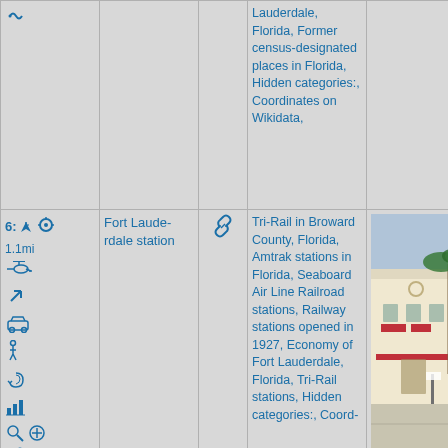| Icons/Controls | Name | Link | Categories | Image |
| --- | --- | --- | --- | --- |
| [chain icon] [nav icons] | Fort Lauderdale station | [chain icon] | Tri-Rail in Broward County, Florida, Amtrak stations in Florida, Seaboard Air Line Railroad stations, Railway stations opened in 1927, Economy of Fort Lauderdale, Florida, Tri-Rail stations, Hidden categories:, Coord- | [photo of Fort Lauderdale station] |
Fort Lauderdale, Florida, Former census-designated places in Florida, Hidden categories:, Coordinates on Wikidata,
6: 1.1mi
Fort Lauderdale station
Tri-Rail in Broward County, Florida, Amtrak stations in Florida, Seaboard Air Line Railroad stations, Railway stations opened in 1927, Economy of Fort Lauderdale, Florida, Tri-Rail stations, Hidden categories:, Coord-
[Figure (photo): Photo of Fort Lauderdale station building, a light-colored stucco building with red awnings, palm trees, and a parking area.]